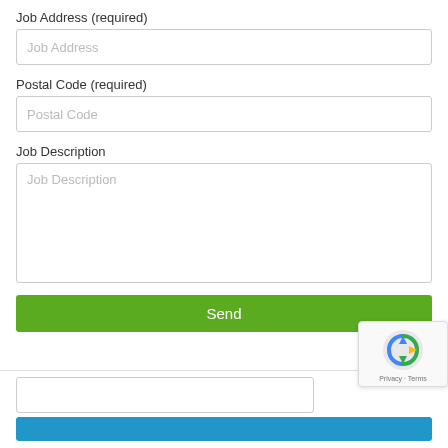Job Address (required)
[Figure (screenshot): Text input field with placeholder 'Job Address']
Postal Code (required)
[Figure (screenshot): Text input field with placeholder 'Postal Code']
Job Description
[Figure (screenshot): Textarea input field with placeholder 'Job Description']
[Figure (screenshot): Green 'Send' button]
[Figure (screenshot): Horizontal separator line followed by a partial text input field and a blue button at the bottom, with a reCAPTCHA badge on the right]